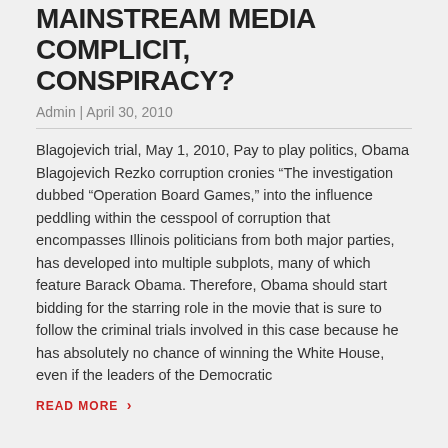MAINSTREAM MEDIA COMPLICIT, CONSPIRACY?
Admin | April 30, 2010
Blagojevich trial, May 1, 2010, Pay to play politics, Obama Blagojevich Rezko corruption cronies “The investigation dubbed “Operation Board Games,” into the influence peddling within the cesspool of corruption that encompasses Illinois politicians from both major parties, has developed into multiple subplots, many of which feature Barack Obama. Therefore, Obama should start bidding for the starring role in the movie that is sure to follow the criminal trials involved in this case because he has absolutely no chance of winning the White House, even if the leaders of the Democratic
READ MORE ›
BLAGOJEVICH TRIAL, WILLIAM CELLINI, TESTIMONY, BLAGOJEVICH REZKO OBAMA CORRUPTION BUDDIES, PAY TO PLAY